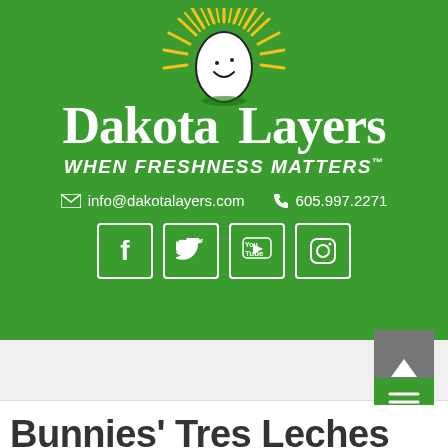[Figure (logo): Dakota Layers logo: smiling egg character with sunburst on green background, brand name 'Dakota Layers' in white serif font, tagline 'WHEN FRESHNESS MATTERS™']
info@dakotalayers.com   605.997.2271
[Figure (infographic): Social media icons: Facebook, Twitter, YouTube, Instagram in white-bordered square buttons on green background]
Bunnies' Tres Leches